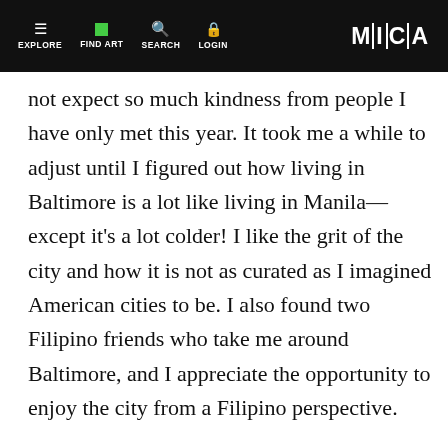EXPLORE | FIND ART | SEARCH | LOGIN | MICA
not expect so much kindness from people I have only met this year. It took me a while to adjust until I figured out how living in Baltimore is a lot like living in Manila—except it's a lot colder! I like the grit of the city and how it is not as curated as I imagined American cities to be. I also found two Filipino friends who take me around Baltimore, and I appreciate the opportunity to enjoy the city from a Filipino perspective.

I enjoy the Social Design Program for its structure